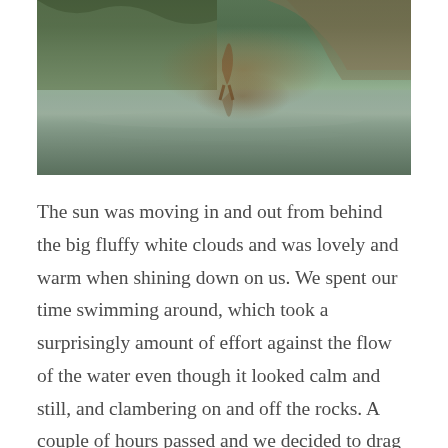[Figure (photo): A nature photograph showing a rocky river or creek scene with reflections of trees and rock formations in calm water, with greenery visible along the banks.]
The sun was moving in and out from behind the big fluffy white clouds and was lovely and warm when shining down on us. We spent our time swimming around, which took a surprisingly amount of effort against the flow of the water even though it looked calm and still, and clambering on and off the rocks. A couple of hours passed and we decided to drag ourselves away for some dinner, but not before perching on the rocks in the shallows filming some of the small fish that were swimming around. It was the perfect spot, and moment, to just chill out and enjoy the sheer beauty of the place.